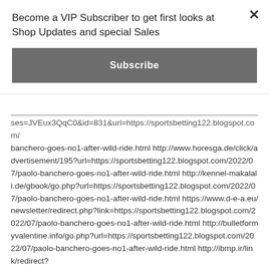Become a VIP Subscriber to get first looks at Shop Updates and special Sales
Subscribe
ses=JVEux3QqC0&id=831&url=https://sportsbetting122.blogspot.com/banchero-goes-no1-after-wild-ride.html http://www.horesga.de/click/advertisement/195?url=https://sportsbetting122.blogspot.com/2022/07/paolo-banchero-goes-no1-after-wild-ride.html http://kennel-makalali.de/gbook/go.php?url=https://sportsbetting122.blogspot.com/2022/07/paolo-banchero-goes-no1-after-wild-ride.html https://www.d-e-a.eu/newsletter/redirect.php?link=https://sportsbetting122.blogspot.com/2022/07/paolo-banchero-goes-no1-after-wild-ride.html http://bulletformyvalentine.info/go.php?url=https://sportsbetting122.blogspot.com/2022/07/paolo-banchero-goes-no1-after-wild-ride.html http://ibmp.ir/link/redirect?